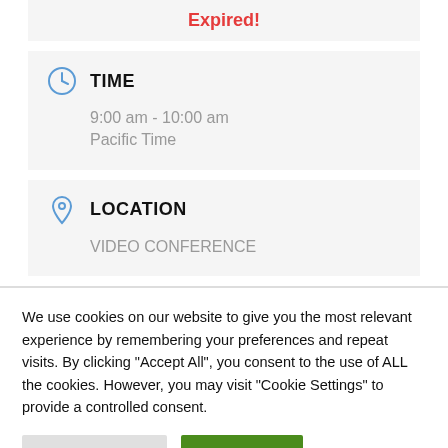Expired!
TIME
9:00 am - 10:00 am
Pacific Time
LOCATION
VIDEO CONFERENCE
We use cookies on our website to give you the most relevant experience by remembering your preferences and repeat visits. By clicking "Accept All", you consent to the use of ALL the cookies. However, you may visit "Cookie Settings" to provide a controlled consent.
Cookie Settings
Accept All